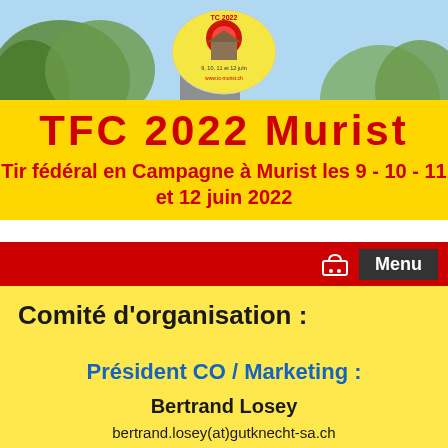[Figure (photo): Outdoor photo background with trees and a building/church tower, light blue sky. Overlaid oval logo for TC 2022 with text '9, 10, 11 et 12 juIn' and 'www.tc-murist.ch']
TFC 2022 Murist
Tir fédéral en Campagne à Murist les 9 - 10 - 11 et 12 juin 2022
Menu
Comité d'organisation :
Président CO / Marketing :
Bertrand Losey
bertrand.losey(at)gutknecht-sa.ch